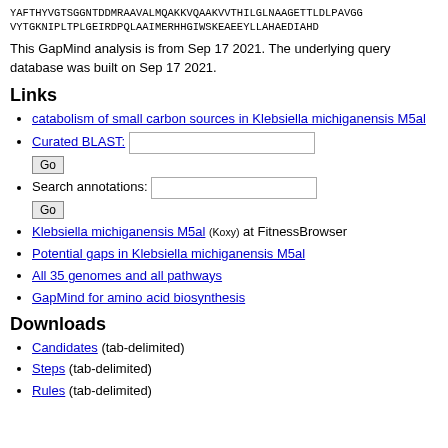YAFTHYVGTSGGNTDDMRAAVALMQAKKVQAAKVVTHILGLNAAGETTLDLPAVGGVYTGKNIPLTPLGEIRDPQLAAIMERHHGIWSKEAEEYLLAHAEDIAHD
This GapMind analysis is from Sep 17 2021. The underlying query database was built on Sep 17 2021.
Links
catabolism of small carbon sources in Klebsiella michiganensis M5al
Curated BLAST: [input] Go
Search annotations: [input] Go
Klebsiella michiganensis M5al (Koxy) at FitnessBrowser
Potential gaps in Klebsiella michiganensis M5al
All 35 genomes and all pathways
GapMind for amino acid biosynthesis
Downloads
Candidates (tab-delimited)
Steps (tab-delimited)
Rules (tab-delimited)